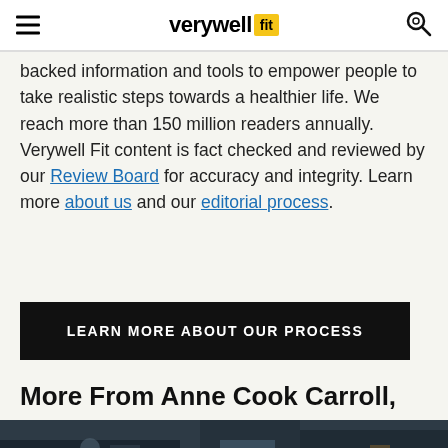verywell fit
backed information and tools to empower people to take realistic steps towards a healthier life. We reach more than 150 million readers annually. Verywell Fit content is fact checked and reviewed by our Review Board for accuracy and integrity. Learn more about us and our editorial process.
LEARN MORE ABOUT OUR PROCESS
More From Anne Cook Carroll, MS, RD
[Figure (photo): Dark interior photo, likely a gym or fitness facility]